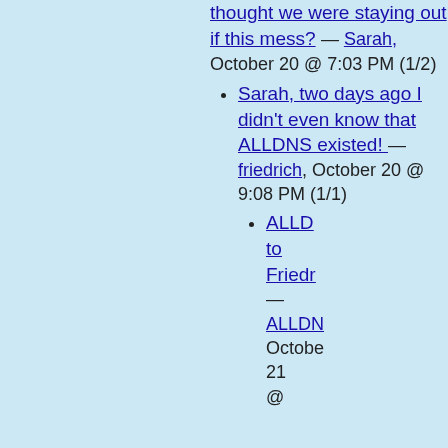thought we were staying out if this mess? — Sarah, October 20 @ 7:03 PM (1/2)
Sarah, two days ago I didn't even know that ALLDNS existed! — friedrich, October 20 @ 9:08 PM (1/1)
ALLD[NS] to Friedr[ich] — ALLDN[S], October 21 @ [time]